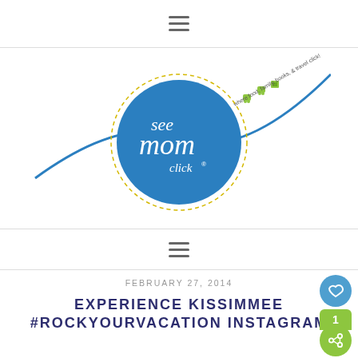≡ (hamburger menu icon)
[Figure (logo): See Mom Click blog logo — blue circle with cursive 'see mom click' text, dashed circular border, blue swoosh line, green travel icons, text 'where food, family, books, & travel click']
≡ (hamburger menu icon)
FEBRUARY 27, 2014
EXPERIENCE KISSIMMEE #ROCKYOURVACATION INSTAGRAM